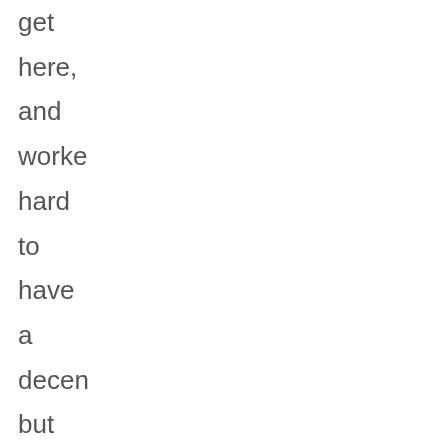get here, and worked hard to have a decent but short-lived, life in rural Minne Nothin glamor or shocki about his story (so